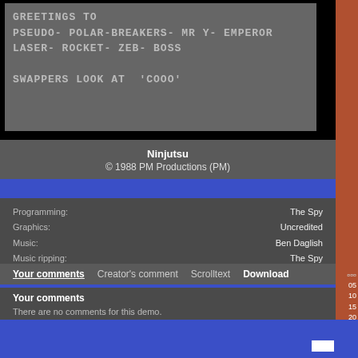[Figure (screenshot): Dark gray box showing scrolltext with lines: GREETINGS TO, PSEUDO- POLAR-BREAKERS- MR Y- EMPEROR LASER- ROCKET- ZEB- BOSS, SWAPPERS LOOK AT 'COOO']
Ninjutsu
© 1988 PM Productions (PM)
|  |  |
| --- | --- |
| Programming: | The Spy |
| Graphics: | Uncredited |
| Music: | Ben Daglish |
| Music ripping: | The Spy |
Your comments   Creator's comment   Scrolltext   Download
Your comments
There are no comments for this demo.
This demo has been downloaded 1144 times.
Direct link: www.c64.com?type=2&id=2052.